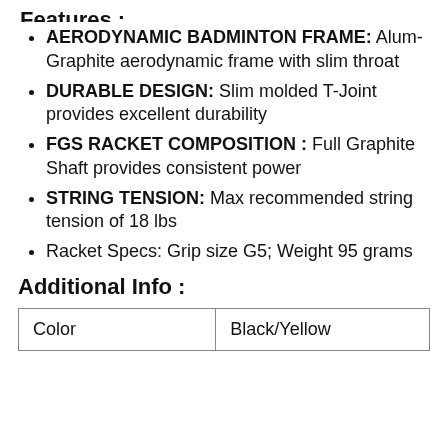Features :
AERODYNAMIC BADMINTON FRAME: Alum-Graphite aerodynamic frame with slim throat
DURABLE DESIGN: Slim molded T-Joint provides excellent durability
FGS RACKET COMPOSITION : Full Graphite Shaft provides consistent power
STRING TENSION: Max recommended string tension of 18 lbs
Racket Specs: Grip size G5; Weight 95 grams
Additional Info :
| Color | Black/Yellow |
| --- | --- |
| Color | Black/Yellow |